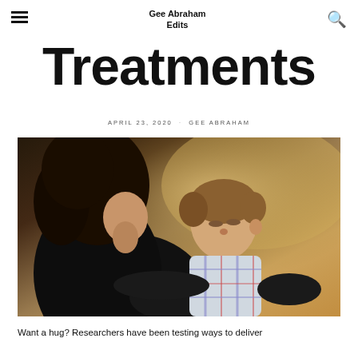Gee Abraham Edits
Treatments
APRIL 23, 2020  ·  GEE ABRAHAM
[Figure (photo): A woman with dark curly hair hugging a young boy in a plaid shirt outdoors]
Want a hug? Researchers have been testing ways to deliver